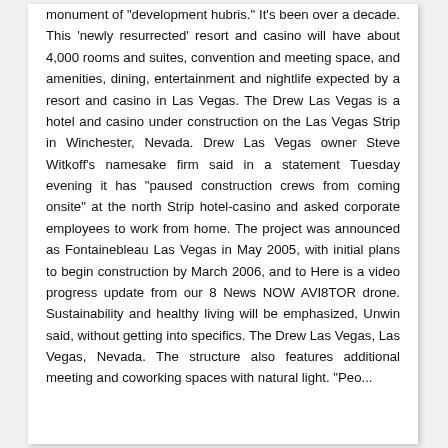monument of "development hubris." It's been over a decade. This 'newly resurrected' resort and casino will have about 4,000 rooms and suites, convention and meeting space, and amenities, dining, entertainment and nightlife expected by a resort and casino in Las Vegas. The Drew Las Vegas is a hotel and casino under construction on the Las Vegas Strip in Winchester, Nevada. Drew Las Vegas owner Steve Witkoff's namesake firm said in a statement Tuesday evening it has "paused construction crews from coming onsite" at the north Strip hotel-casino and asked corporate employees to work from home. The project was announced as Fontainebleau Las Vegas in May 2005, with initial plans to begin construction by March 2006, and to Here is a video progress update from our 8 News NOW AVI8TOR drone. Sustainability and healthy living will be emphasized, Unwin said, without getting into specifics. The Drew Las Vegas, Las Vegas, Nevada. The structure also features additional meeting and coworking spaces with natural light. "Peo...